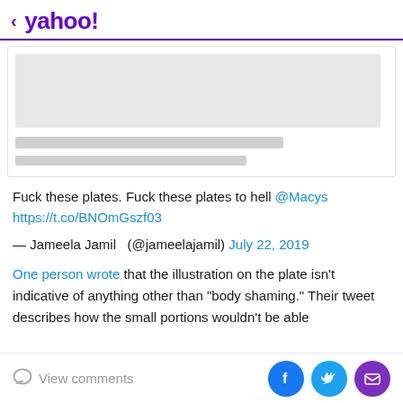< yahoo!
[Figure (screenshot): Placeholder/loading card with grey image block and two grey text lines]
Fuck these plates. Fuck these plates to hell @Macys https://t.co/BNOmGszf03
— Jameela Jamil  (@jameelajamil) July 22, 2019
One person wrote that the illustration on the plate isn't indicative of anything other than "body shaming." Their tweet describes how the small portions wouldn't be able
View comments